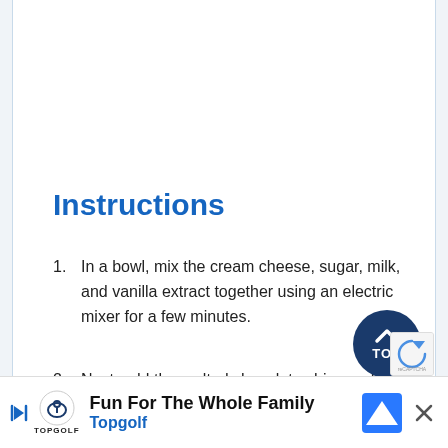Instructions
In a bowl, mix the cream cheese, sugar, milk, and vanilla extract together using an electric mixer for a few minutes.
Next, add the melted chocolate chips and fold until evenly incorporated.
[Figure (other): Dark blue circular TOP button with upward-pointing chevron arrow]
[Figure (other): reCAPTCHA badge partially visible in bottom-right corner]
[Figure (other): Topgolf advertisement banner at bottom: Fun For The Family with Topgolf logo, navigation icon, and close button]